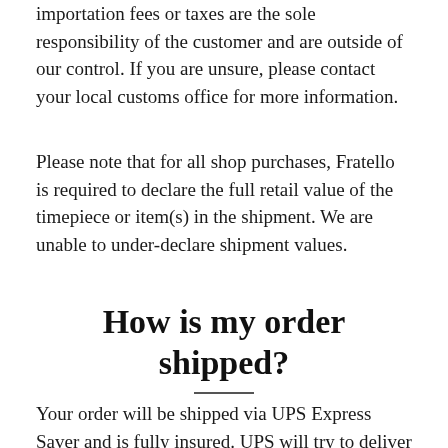importation fees or taxes are the sole responsibility of the customer and are outside of our control. If you are unsure, please contact your local customs office for more information.
Please note that for all shop purchases, Fratello is required to declare the full retail value of the timepiece or item(s) in the shipment. We are unable to under-declare shipment values.
How is my order shipped?
Your order will be shipped via UPS Express Saver and is fully insured. UPS will try to deliver the shipment on